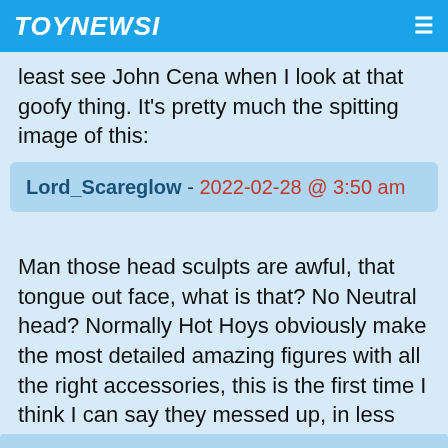TOYNEWSI ≡
least see John Cena when I look at that goofy thing. It's pretty much the spitting image of this:
Lord_Scareglow - 2022-02-28 @ 3:50 am
Man those head sculpts are awful, that tongue out face, what is that? No Neutral head? Normally Hot Hoys obviously make the most detailed amazing figures with all the right accessories, this is the first time I think I can say they messed up, in less they have some other version of this figure up their sleeve this one is off the mark with those head choices.